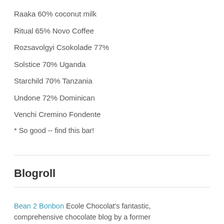Raaka 60% coconut milk
Ritual 65% Novo Coffee
Rozsavolgyi Csokolade 77%
Solstice 70% Uganda
Starchild 70% Tanzania
Undone 72% Dominican
Venchi Cremino Fondente
* So good -- find this bar!
Blogroll
Bean 2 Bonbon Ecole Chocolat's fantastic, comprehensive chocolate blog by a former